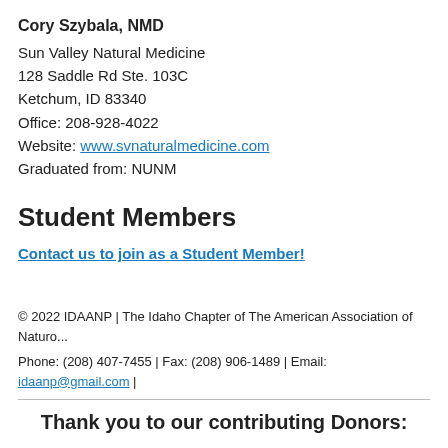Cory Szybala, NMD
Sun Valley Natural Medicine
128 Saddle Rd Ste. 103C
Ketchum, ID 83340
Office: 208-928-4022
Website: www.svnaturalmedicine.com
Graduated from: NUNM
Student Members
Contact us to join as a Student Member!
© 2022 IDAANP | The Idaho Chapter of The American Association of Naturo...
Phone: (208) 407-7455 | Fax: (208) 906-1489 | Email: idaanp@gmail.com |
Thank you to our contributing Donors: